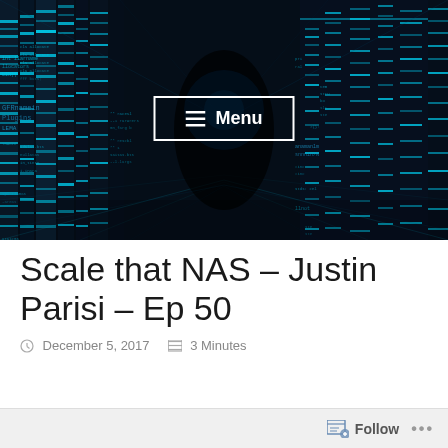[Figure (photo): Dark futuristic data center corridor with glowing cyan/blue server racks receding into the distance, with code text overlaid on the sides, and a 'Menu' button with hamburger icon overlaid in the center]
Scale that NAS – Justin Parisi – Ep 50
December 5, 2017   3 Minutes
Follow ...